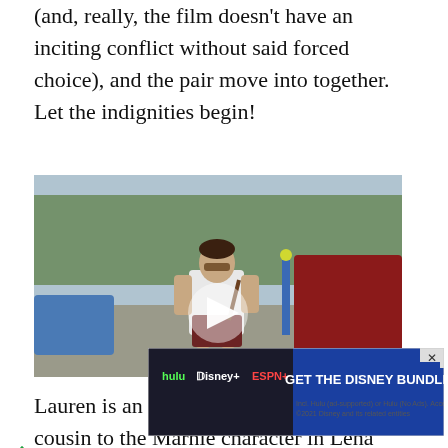(and, really, the film doesn't have an inciting conflict without said forced choice), and the pair move into together. Let the indignities begin!
[Figure (photo): A woman wearing sunglasses, a white t-shirt, and dark red/maroon shorts walking outdoors near parked cars. A video play button is overlaid on the image.]
Lauren is an uptight go-getter, a sort of cousin to the Marnie character in Lena Dunham's Girls, and not having a control over her love life or her home... spirit... eople...
[Figure (other): Advertisement banner: GET THE DISNEY BUNDLE – hulu, Disney+, ESPN+. Incl. Hulu (ad-supported) or Hulu (No Ads). Access content from each service separately. ©2021 Disney and its related entities]